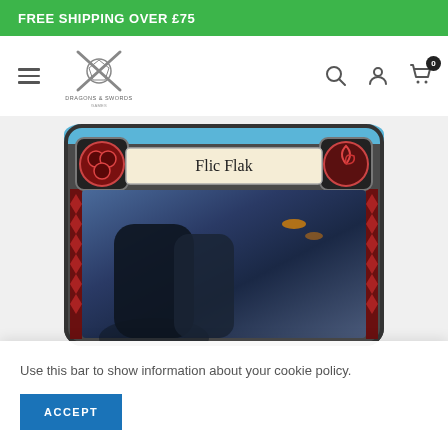FREE SHIPPING OVER £75
[Figure (logo): Dragons & Swords gaming store logo with crossed swords and d20 dice icon]
[Figure (photo): Flesh and Blood trading card game card named 'Flic Flak' showing two figures in combat in a dark blue-toned city scene]
Use this bar to show information about your cookie policy.
ACCEPT